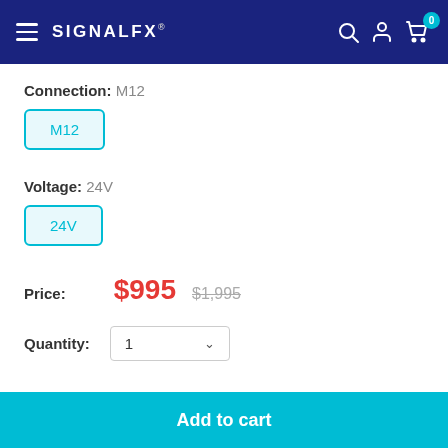SignalFX — navigation header with hamburger menu, search, account, cart (0 items)
Connection: M12
M12
Voltage: 24V
24V
Price: $995  $1,995
Quantity: 1
Add to cart